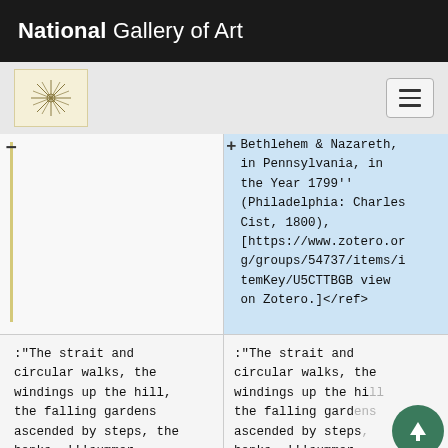National Gallery of Art
[Figure (logo): National Gallery of Art logo - small circular starburst/compass design on cream background]
Bethlehem & Nazareth, in Pennsylvania, in the Year 1799'' (Philadelphia: Charles Cist, 1800), [https://www.zotero.org/groups/54737/items/itemKey/U5CTTBGB view on Zotero.]</ref>
:"The strait and circular walks, the windings up the hill, the falling gardens ascended by steps, the banks, '''summer-
:"The strait and circular walks, the windings up the hill, the falling gardens ascended by steps, banks, '''summer-